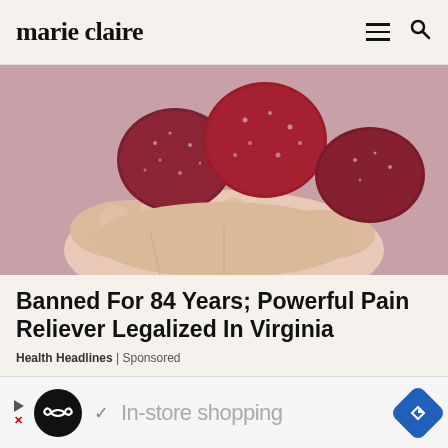marie claire
[Figure (photo): Close-up of a hand holding three sugar-coated dark red gummy candies]
Banned For 84 Years; Powerful Pain Reliever Legalized In Virginia
Health Headlines | Sponsored
[Figure (photo): Blurred close-up of a textured food item with a red cup visible on the right side]
In-store shopping